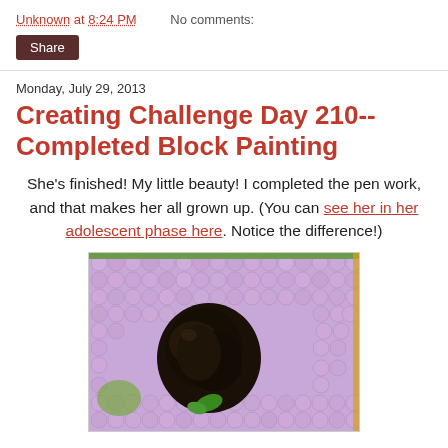Unknown at 8:24 PM    No comments:
Share
Monday, July 29, 2013
Creating Challenge Day 210-- Completed Block Painting
She's finished! My little beauty! I completed the pen work, and that makes her all grown up. (You can see her in her adolescent phase here. Notice the difference!)
[Figure (photo): A block painting showing a dark bird figure against a purple bubble-wrap-textured background with green accents]